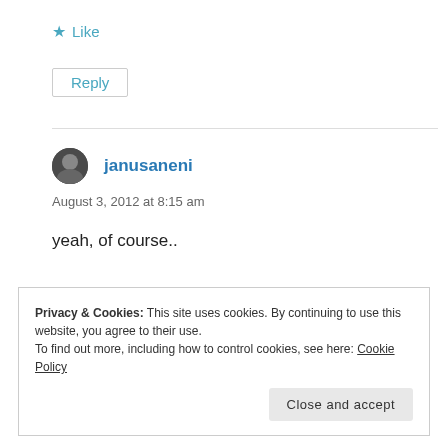★ Like
Reply
janusaneni
August 3, 2012 at 8:15 am
yeah, of course..
Privacy & Cookies: This site uses cookies. By continuing to use this website, you agree to their use.
To find out more, including how to control cookies, see here: Cookie Policy
Close and accept